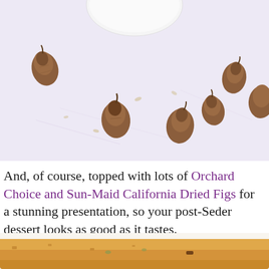[Figure (photo): Dried figs scattered on a light lavender/white surface with a white bowl or dish partially visible at the top center. Multiple small brown dried figs are arranged casually across the surface.]
And, of course, topped with lots of Orchard Choice and Sun-Maid California Dried Figs for a stunning presentation, so your post-Seder dessert looks as good as it tastes.
[Figure (photo): Partial view of a golden-brown baked dessert (cake or bread) on a white plate, with visible toppings.]